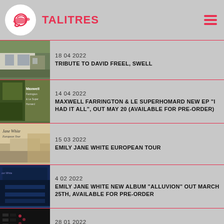TALITRES
18 04 2022 — TRIBUTE TO DAVID FREEL, SWELL
14 04 2022 — MAXWELL FARRINGTON & LE SUPERHOMARD NEW EP "I HAD IT ALL", OUT MAY 20 (AVAILABLE FOR PRE-ORDER)
15 03 2022 — EMILY JANE WHITE EUROPEAN TOUR
4 02 2022 — EMILY JANE WHITE NEW ALBUM "ALLUVION" OUT MARCH 25TH, AVAILABLE FOR PRE-ORDER
28 01 2022